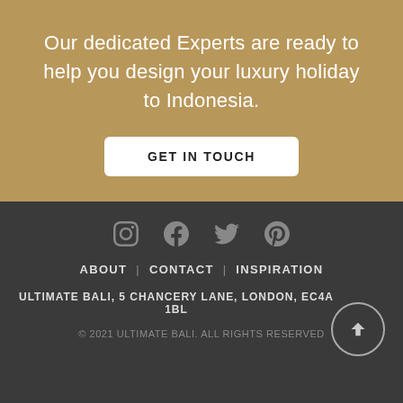Our dedicated Experts are ready to help you design your luxury holiday to Indonesia.
GET IN TOUCH
[Figure (other): Social media icons: Instagram, Facebook, Twitter, Pinterest]
ABOUT | CONTACT | INSPIRATION
ULTIMATE BALI, 5 CHANCERY LANE, LONDON, EC4A 1BL
© 2021 ULTIMATE BALI. ALL RIGHTS RESERVED